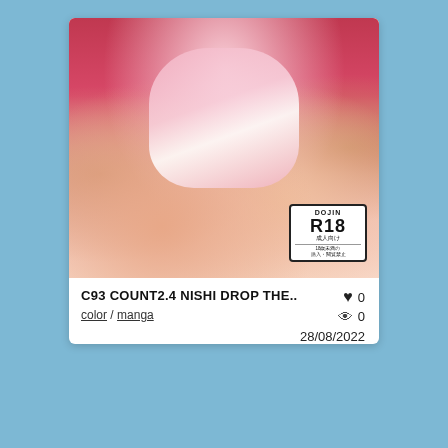[Figure (illustration): Manga/doujin cover art showing anime-style illustration with R18 DOJIN badge in bottom right corner]
C93 COUNT2.4 NISHI DROP THE..
color / manga
♥ 0
👁 0
28/08/2022